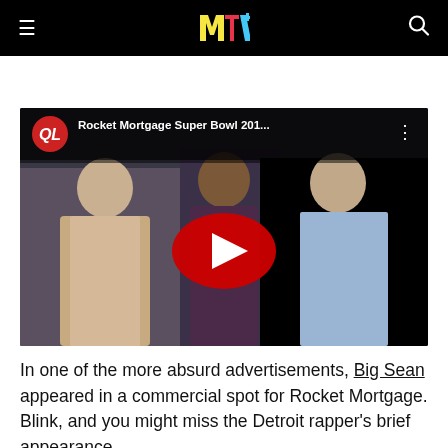MTV navigation bar with hamburger menu, MTV logo, and search icon
[Figure (screenshot): YouTube video thumbnail showing 'Rocket Mortgage Super Bowl 201...' with QL logo, three people sitting in an office, and a YouTube play button overlay]
In one of the more absurd advertisements, Big Sean appeared in a commercial spot for Rocket Mortgage. Blink, and you might miss the Detroit rapper's brief appearance.